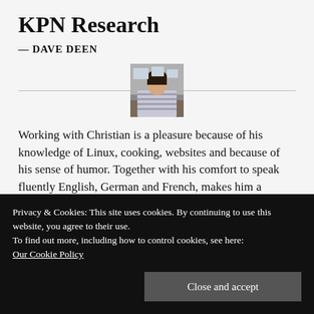KPN Research
— DAVE DEEN
[Figure (photo): Person seen from behind, sitting at a desk looking at screens/documents.]
Working with Christian is a pleasure because of his knowledge of Linux, cooking, websites and because of his sense of humor. Together with his comfort to speak fluently English, German and French, makes him a versatile colleague.
KPN ITNL I&O SE
Privacy & Cookies: This site uses cookies. By continuing to use this website, you agree to their use.
To find out more, including how to control cookies, see here:
Our Cookie Policy
Close and accept